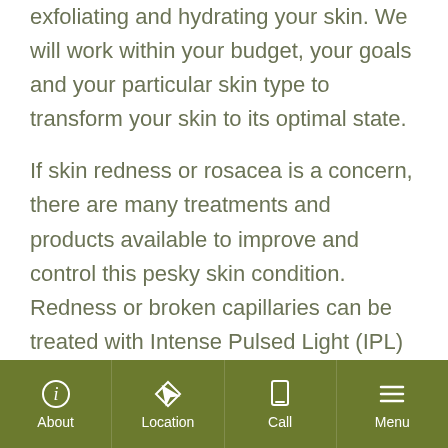exfoliating and hydrating your skin. We will work within your budget, your goals and your particular skin type to transform your skin to its optimal state.
If skin redness or rosacea is a concern, there are many treatments and products available to improve and control this pesky skin condition. Redness or broken capillaries can be treated with Intense Pulsed Light (IPL) at set intervals, and these treatments are surprisingly budget friendly at Paragon Med Spa. When executed well, these treatments, coupled with hydrating
About | Location | Call | Menu